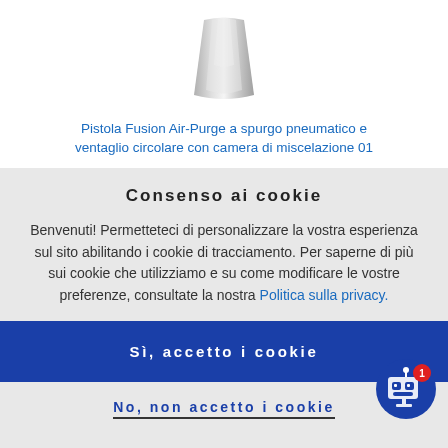[Figure (photo): Partial product image of a Fusion Air-Purge spray gun, showing metallic nozzle/tip on white background]
Pistola Fusion Air-Purge a spurgo pneumatico e ventaglio circolare con camera di miscelazione 01
Consenso ai cookie
Benvenuti! Permetteteci di personalizzare la vostra esperienza sul sito abilitando i cookie di tracciamento. Per saperne di più sui cookie che utilizziamo e su come modificare le vostre preferenze, consultate la nostra Politica sulla privacy.
Sì, accetto i cookie
No, non accetto i cookie
[Figure (illustration): Blue circular robot/chatbot icon with red notification badge showing '1']